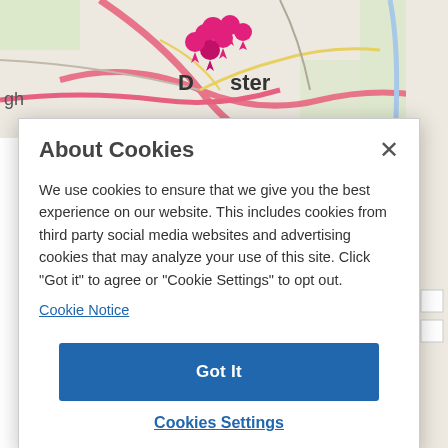[Figure (map): Street map showing Doncaster area with pink location pin markers clustered near city center, roads highlighted in pink/red, DSA airport marker visible, A614 road label, partial text 'gh' on left and 'ster' visible]
About Cookies
We use cookies to ensure that we give you the best experience on our website. This includes cookies from third party social media websites and advertising cookies that may analyze your use of this site. Click "Got it" to agree or "Cookie Settings" to opt out.
Cookie Notice
Got It
Cookies Settings